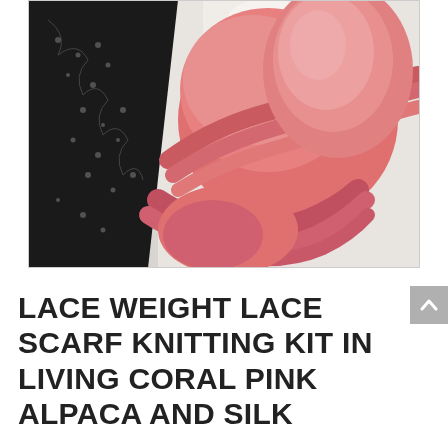[Figure (photo): A person holding a large skein of living coral pink alpaca and silk yarn, with a black lace knitted scarf draped over their arm. The background is white/light grey.]
LACE WEIGHT LACE SCARF KNITTING KIT IN LIVING CORAL PINK ALPACA AND SILK